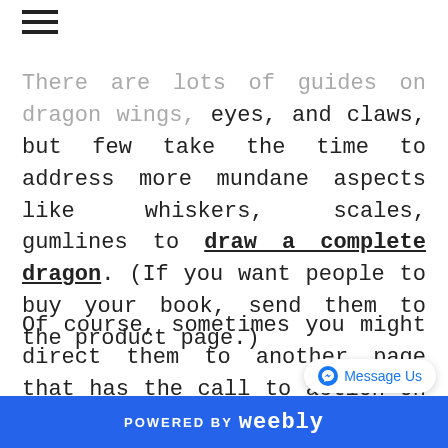≡
There are lots of guides on dragon wings, eyes, and claws, but few take the time to address more mundane aspects like whiskers, scales, gumlines to draw a complete dragon. (If you want people to buy your book, send them to the product page.)
Of course, sometimes you might direct them to another page that has the call to action on it, like a related blog or product page. The idea is to empower your reader to do the thing they now want to do.
POWERED BY weebly